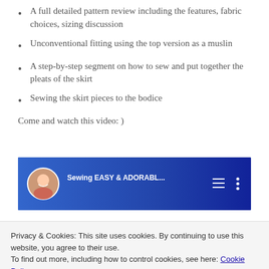A full detailed pattern review including the features, fabric choices, sizing discussion
Unconventional fitting using the top version as a muslin
A step-by-step segment on how to sew and put together the pleats of the skirt
Sewing the skirt pieces to the bodice
Come and watch this video: )
[Figure (screenshot): Video thumbnail showing two women with text 'Sewing EASY & ADORABL...' and menu icons on a blue background]
Privacy & Cookies: This site uses cookies. By continuing to use this website, you agree to their use.
To find out more, including how to control cookies, see here: Cookie Policy
Close and accept